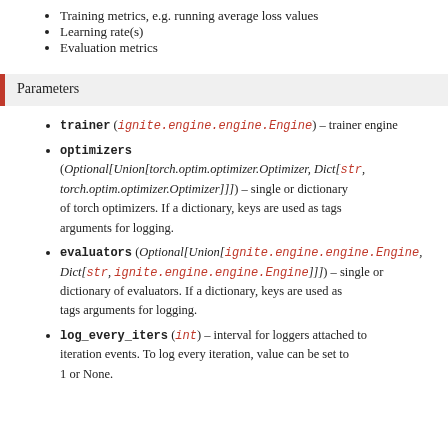Training metrics, e.g. running average loss values
Learning rate(s)
Evaluation metrics
Parameters
trainer (ignite.engine.engine.Engine) – trainer engine
optimizers (Optional[Union[torch.optim.optimizer.Optimizer, Dict[str, torch.optim.optimizer.Optimizer]]]) – single or dictionary of torch optimizers. If a dictionary, keys are used as tags arguments for logging.
evaluators (Optional[Union[ignite.engine.engine.Engine, Dict[str, ignite.engine.engine.Engine]]]) – single or dictionary of evaluators. If a dictionary, keys are used as tags arguments for logging.
log_every_iters (int) – interval for loggers attached to iteration events. To log every iteration, value can be set to 1 or None.